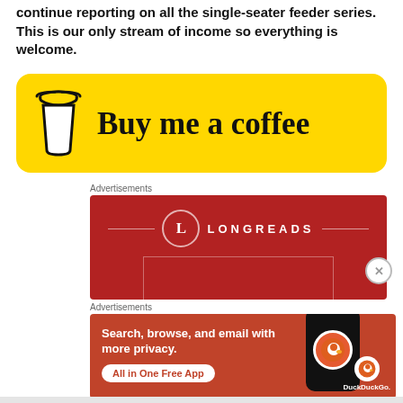continue reporting on all the single-seater feeder series. This is our only stream of income so everything is welcome.
[Figure (illustration): Buy Me a Coffee yellow button with coffee cup icon and cursive text 'Buy me a coffee']
Advertisements
[Figure (illustration): Longreads advertisement banner on dark red background with circular L logo and LONGREADS text]
Advertisements
[Figure (illustration): DuckDuckGo advertisement: Search, browse, and email with more privacy. All in One Free App. Shows phone with DuckDuckGo logo.]